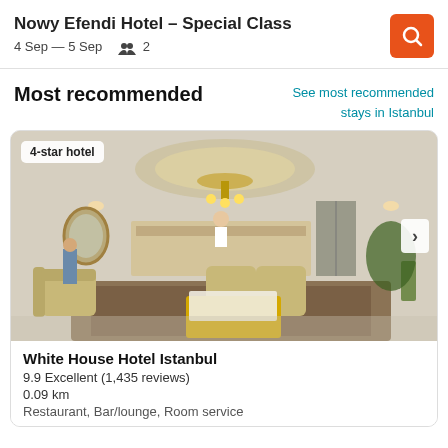Nowy Efendi Hotel – Special Class
4 Sep — 5 Sep    2
Most recommended
See most recommended stays in Istanbul
[Figure (photo): Interior photo of a luxurious hotel lobby with chandeliers, ornate furniture, and a reception desk. Badge overlay reads '4-star hotel'. Navigation arrow on right side.]
White House Hotel Istanbul
9.9 Excellent (1,435 reviews)
0.09 km
Restaurant, Bar/lounge, Room service